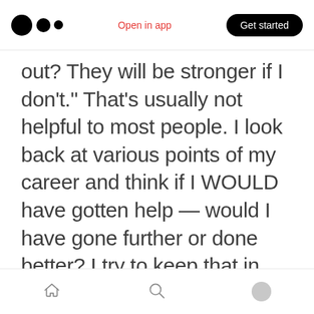Medium app header with logo, 'Open in app' link, and 'Get started' button
out? They will be stronger if I don't.” That’s usually not helpful to most people. I look back at various points of my career and think if I WOULD have gotten help — would I have gone further or done better? I try to keep that in
Bottom navigation bar with home, search, and profile icons